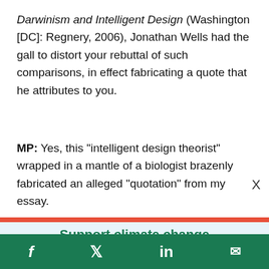Darwinism and Intelligent Design (Washington [DC]: Regnery, 2006), Jonathan Wells had the gall to distort your rebuttal of such comparisons, in effect fabricating a quote that he attributes to you.
MP: Yes, this "intelligent design theorist" wrapped in a mantle of a biologist brazenly fabricated an alleged "quotation" from my essay.
Support climate change
f  [twitter]  in  [email]